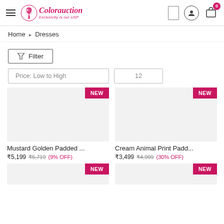[Figure (screenshot): Colorauction e-commerce website header with logo, hamburger menu, search, user icon, and cart with badge 0]
Home › Dresses
Filter
Price: Low to High    12
[Figure (photo): Mustard Golden Padded dress product image with NEW badge]
Mustard Golden Padded ...
₹5,199  ₹5,719  (9% OFF)
[Figure (photo): Cream Animal Print Padded dress product image with NEW badge]
Cream Animal Print Padd...
₹3,499  ₹4,999  (30% OFF)
[Figure (photo): Bottom product image with NEW badge (left)]
[Figure (photo): Bottom product image with NEW badge (right)]